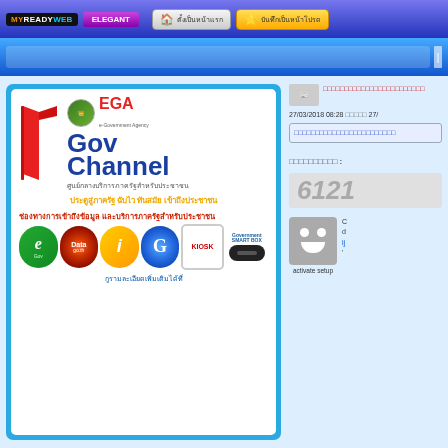MYREADYWEB ELEGANT | ตั้งเป็นหน้าแรก | บันทึกเป็นหน้าโปรด
[Figure (screenshot): GovChannel logo with red door, EGA emblem, Thai text about government service center]
ช่องทางการเข้าถึงข้อมูล และบริการภาครัฐสำหรับประชาชน
[Figure (infographic): Row of government service icons: eGov, Data.go.th, i logo, G logo, KIOSK, Government SMART BOX]
กูรามละเอียดเพิ่มเติมได้ที่
27/03/2018 08:28 □□□□□ 27/
□□□□□□□□□□□□□□□□□□□□□□□□
□□□□□□□□□□ :
6121
activate setup